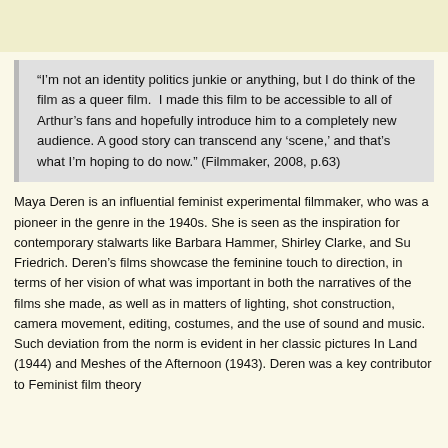[Figure (other): Light yellow banner at top of page]
“I’m not an identity politics junkie or anything, but I do think of the film as a queer film.  I made this film to be accessible to all of Arthur’s fans and hopefully introduce him to a completely new audience. A good story can transcend any ‘scene,’ and that’s what I’m hoping to do now.” (Filmmaker, 2008, p.63)
Maya Deren is an influential feminist experimental filmmaker, who was a pioneer in the genre in the 1940s. She is seen as the inspiration for contemporary stalwarts like Barbara Hammer, Shirley Clarke, and Su Friedrich. Deren’s films showcase the feminine touch to direction, in terms of her vision of what was important in both the narratives of the films she made, as well as in matters of lighting, shot construction, camera movement, editing, costumes, and the use of sound and music. Such deviation from the norm is evident in her classic pictures In Land (1944) and Meshes of the Afternoon (1943). Deren was a key contributor to Feminist film theory